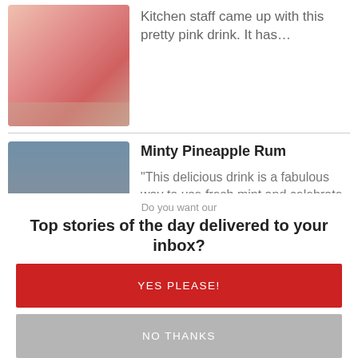[Figure (photo): Pink drink in a glass on a coaster]
Kitchen staff came up with this pretty pink drink. It has…
[Figure (photo): Three glasses of yellow pineapple rum drinks with mint garnish]
Minty Pineapple Rum
"This delicious drink is a fabulous way to use fresh mint and celebrate summer. If the pineapple isn't overly ripe...
Do you want our
Top stories of the day delivered to your inbox?
YES PLEASE!
NO THANKS